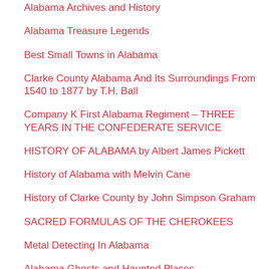Alabama Archives and History
Alabama Treasure Legends
Best Small Towns in Alabama
Clarke County Alabama And Its Surroundings From 1540 to 1877 by T.H. Ball
Company K First Alabama Regiment – THREE YEARS IN THE CONFEDERATE SERVICE
HISTORY OF ALABAMA by Albert James Pickett
History of Alabama with Melvin Cane
History of Clarke County by John Simpson Graham
SACRED FORMULAS OF THE CHEROKEES
Metal Detecting In Alabama
Alabama Ghosts and Haunted Places